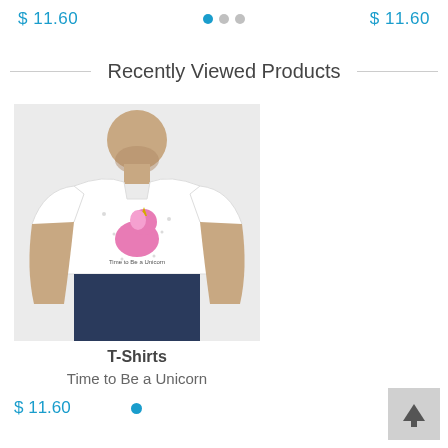$ 11.60   ● ○ ○   $ 11.60
Recently Viewed Products
[Figure (photo): A man wearing a white t-shirt with a pink unicorn graphic and text 'Time to Be a Unicorn']
T-Shirts
Time to Be a Unicorn
$ 11.60